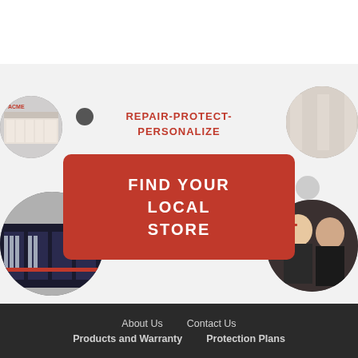REPAIR-PROTECT-PERSONALIZE
FIND YOUR LOCAL STORE
About Us   Contact Us   Products and Warranty   Protection Plans